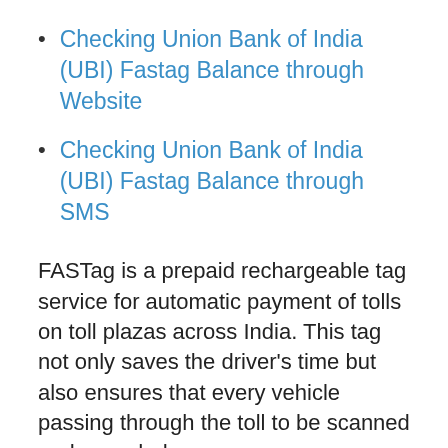Checking Union Bank of India (UBI) Fastag Balance through Website
Checking Union Bank of India (UBI) Fastag Balance through SMS
FASTag is a prepaid rechargeable tag service for automatic payment of tolls on toll plazas across India. This tag not only saves the driver’s time but also ensures that every vehicle passing through the toll to be scanned and recorded.
Whenever a vehicle passes the electronic toll collection lane of the toll plaza, the toll plaza system will capture FASTag details such as tag ID, vehicle class, etc, and send it for processing. The processing bank will produce